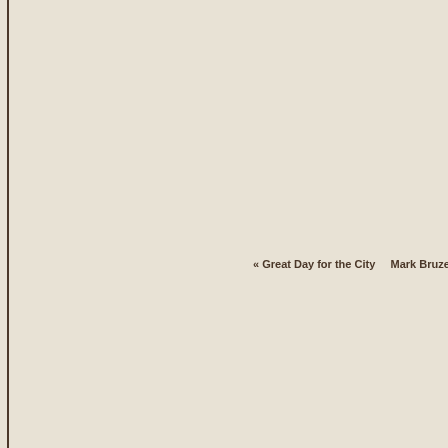« Great Day for the City    Mark Bruzee Has Left